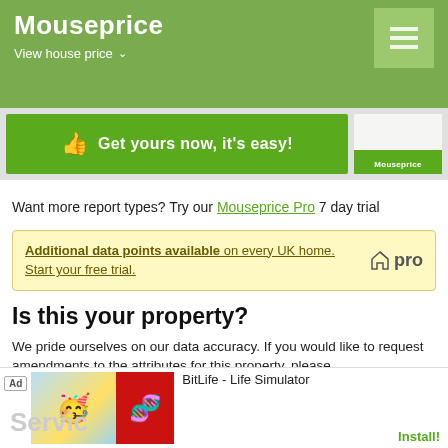Mouseprice
View house price
[Figure (screenshot): Green CTA banner with thumbs up icon: 'Get yours now, it's easy!' and a small Mouseprice preview card on the right]
Want more report types? Try our Mouseprice Pro 7 day trial
Additional data points available on every UK home. Start your free trial.
Is this your property?
We pride ourselves on our data accuracy. If you would like to request amendments to the attributes for this property, please click here.
[Figure (screenshot): Ad banner: BitLife - Life Simulator with Install! button]